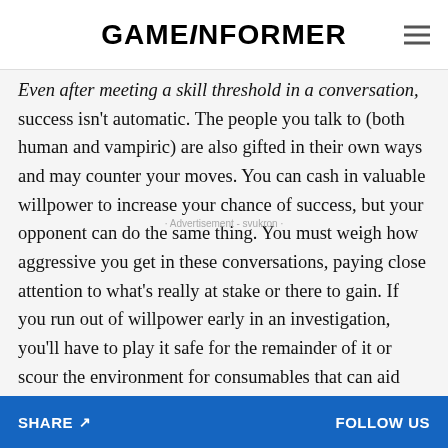GAMEINFORMER
Even after meeting a skill threshold in a conversation, success isn't automatic. The people you talk to (both human and vampiric) are also gifted in their own ways and may counter your moves. You can cash in valuable willpower to increase your chance of success, but your opponent can do the same thing. You must weigh how aggressive you get in these conversations, paying close attention to what's really at stake or there to gain. If you run out of willpower early in an investigation, you'll have to play it safe for the remainder of it or scour the environment for consumables that can aid you (although they are hard to find). Character development is tied heavily to vampiric power usage, rewarding you
SHARE  FOLLOW US